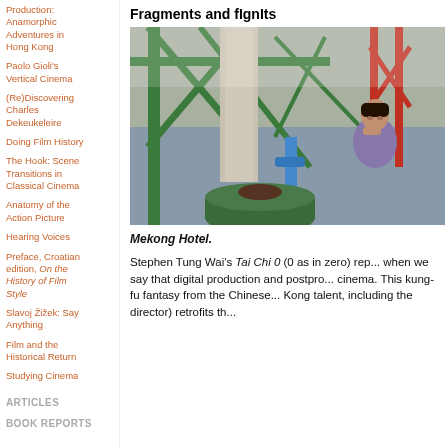Production: Anamorphic Adventures in Hong Kong
Paolo Gioli's Vertical Cinema
(Re)Discovering Charles Dekeukeleire
Doing Film History
The Hook: Scene Transitions in Classical Cinema
Anatomy of the Action Picture
Hearing Voices
Preface, Croatian edition, On the History of Film Style
Slavoj Žižek: Say Anything
Film and the Historical Return
Studying Cinema
ARTICLES
BOOK REPORTS
Fragments and fIgnIts
[Figure (photo): Photo of a young woman eating near green metal railings and pipes, likely on a boat or dock structure. A green container is in the foreground.]
Mekong Hotel.
Stephen Tung Wai's Tai Chi 0 (0 as in zero) rep... when we say that digital production and postpro... cinema. This kung-fu fantasy from the Chinese... Kong talent, including the director) retrofits th...